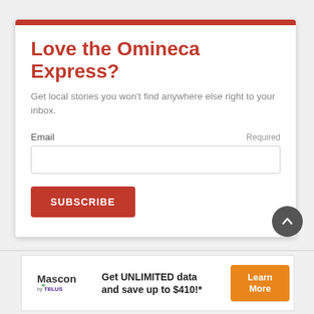Love the Omineca Express?
Get local stories you won't find anywhere else right to your inbox.
Email
Required
SUBSCRIBE
[Figure (other): Mascon by TELUS advertisement banner. Text: 'Get UNLIMITED data and save up to $410!*' with a Learn More button.]